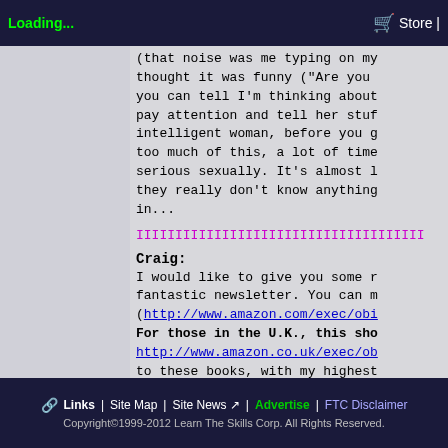Loading... | Store
(that noise was me typing on my
thought it was funny ("Are you
you can tell I'm thinking about
pay attention and tell her stuf
intelligent woman, before you g
too much of this, a lot of time
serious sexually. It's almost l
they really don't know anything
in...
IIIIIIIIIIIIIIIIIIIIIIIIIIIIIIIIIIIII
Craig:
I would like to give you some r
fantastic newsletter. You can m
(http://www.amazon.com/exec/obi
For those in the U.K., this sho
http://www.amazon.co.uk/exec/ob
to these books, with my highest
Leil Lowndes Talking the Winner
I have been telling you guys ab
reason. If you want women to co
of PUA, you must project a powe
show you how.
David Lieberman Get Anyone to D
This book hits on so many power
impossible to pick them up in o
Links | Site Map | Site News | Advertise | FTC Disclaimer
Copyright©1999-2012 Learn The Skills Corp. All Rights Reserved.